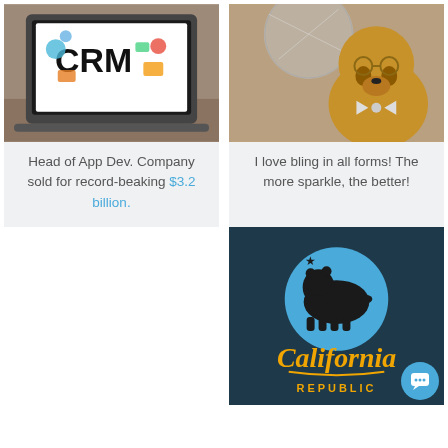[Figure (photo): Laptop computer screen displaying CRM text and colorful app icons on a desk]
Head of App Dev. Company sold for record-beaking $3.2 billion.
[Figure (photo): A dog wearing a sparkly bow tie in front of a disco ball]
I love bling in all forms! The more sparkle, the better!
[Figure (logo): California Republic logo with bear silhouette on blue circle and gold script text on dark teal background]
[Figure (other): Chat button widget in bottom right corner]